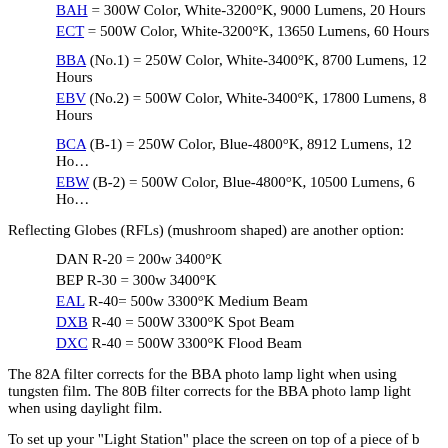BAH = 300W Color, White-3200°K, 9000 Lumens, 20 Hours
ECT = 500W Color, White-3200°K, 13650 Lumens, 60 Hours
BBA (No.1) = 250W Color, White-3400°K, 8700 Lumens, 12 Hours
EBV (No.2) = 500W Color, White-3400°K, 17800 Lumens, 8 Hours
BCA (B-1) = 250W Color, Blue-4800°K, 8912 Lumens, 12 Hours
EBW (B-2) = 500W Color, Blue-4800°K, 10500 Lumens, 6 Hours
Reflecting Globes (RFLs) (mushroom shaped) are another option:
DAN R-20 = 200w 3400°K
BEP R-30 = 300w 3400°K
EAL R-40= 500w 3300°K Medium Beam
DXB R-40 = 500W 3300°K Spot Beam
DXC R-40 = 500W 3300°K Flood Beam
The 82A filter corrects for the BBA photo lamp light when using tungsten film. The 80B filter corrects for the BBA photo lamp light when using daylight film.
To set up your "Light Station" place the screen on top of a piece of b paper and center it 12 inches directly below a 150W clear incandesc bulb or BBA No.1 Photo flood (preferred) Bulb. Either should be f…